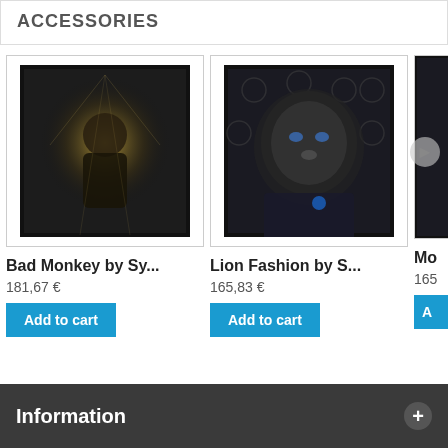ACCESSORIES
[Figure (photo): Framed art print of Bad Monkey character - a monkey in sunglasses with dramatic lighting]
Bad Monkey by Sy...
181,67 €
Add to cart
[Figure (photo): Framed art print of Lion Fashion - a lion wearing a suit with blue flower boutonniere]
Lion Fashion by S...
165,83 €
Add to cart
Mo
165
A
Information